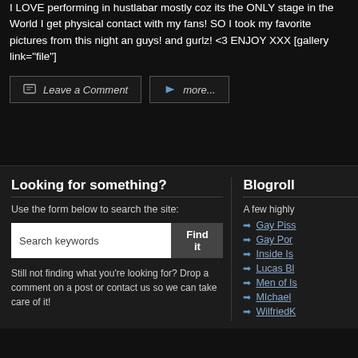I LOVE performing in hustlabar mostly coz its the ONLY stage in the World I get physical contact with my fans! SO I took my favorite pictures from this night an guys! and gurlz! <3 ENJOY XXX [gallery link="file"]
Leave a Comment
more...
Looking for something?
Use the form below to search the site:
Still not finding what you're looking for? Drop a comment on a post or contact us so we can take care of it!
Blogroll
A few highly
Gay Piss
Gay Por
Inside Is
Lucas Bl
Men of Is
MIchael
WilfriedK